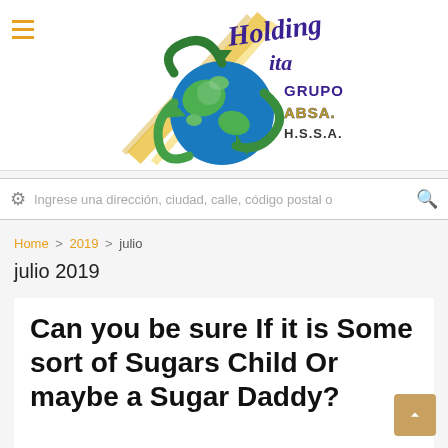[Figure (logo): Holding Ita Grupo ABSA H.S.S.A. logo with globe wrapped in green arrows and calligraphic text]
Ingrese una dirección, ciudad, calle, código postal o
Home > 2019 > julio
julio 2019
Can you be sure If it is Some sort of Sugars Child Or maybe a Sugar Daddy?